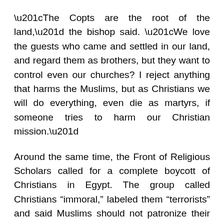“The Copts are the root of the land,” the bishop said. “We love the guests who came and settled in our land, and regard them as brothers, but they want to control even our churches? I reject anything that harms the Muslims, but as Christians we will do everything, even die as martyrs, if someone tries to harm our Christian mission.”
Around the same time, the Front of Religious Scholars called for a complete boycott of Christians in Egypt. The group called Christians “immoral,” labeled them “terrorists” and said Muslims should not patronize their businesses or even say “hello” to them.
The statement by the scholars was followed by a media leak about a lecture Bishoy was scheduled to give at a conference for Orthodox clergy. In his presentation, Bishoy planned on questioning the authorship of a verse in the